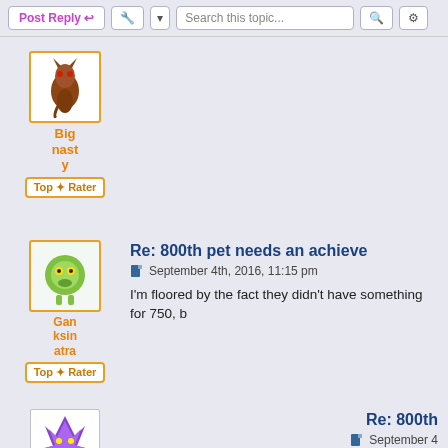Post Reply | Search this topic...
[Figure (illustration): Forum user avatar: dragon character for user Big nasty with Top Rater badge]
Big nasty
Top ✦ Rater
[Figure (illustration): Forum user avatar: green character for user Ganksinatra with Top Rater badge]
Ganksinatra
Top ✦ Rater
Re: 800th pet needs an achieve
September 4th, 2016, 11:15 pm
I'm floored by the fact they didn't have something for 750, b
[Figure (illustration): Forum user avatar: purple butterfly character for user Killerkarl]
Killerkarl
Re: 800th
September 4
They are pro
[Figure (illustration): Forum user avatar: blue/teal creature at bottom]